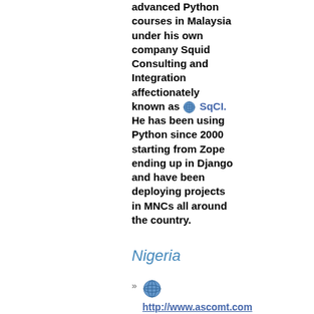advanced Python courses in Malaysia under his own company Squid Consulting and Integration affectionately known as SqCI. He has been using Python since 2000 starting from Zope ending up in Django and have been deploying projects in MNCs all around the country.
Nigeria
http://www.ascomt.com ASCOMT NIGERIA